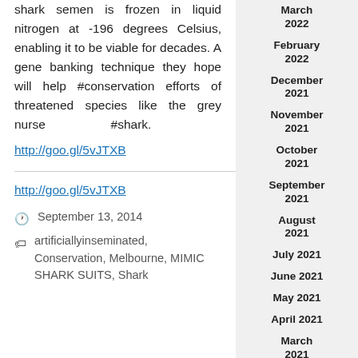shark semen is frozen in liquid nitrogen at -196 degrees Celsius, enabling it to be viable for decades. A gene banking technique they hope will help #conservation efforts of threatened species like the grey nurse #shark.
http://goo.gl/5vJTXB
http://goo.gl/5vJTXB
September 13, 2014
artificiallyinseminated, Conservation, Melbourne, MIMIC SHARK SUITS, Shark
March 2022
February 2022
December 2021
November 2021
October 2021
September 2021
August 2021
July 2021
June 2021
May 2021
April 2021
March 2021
February 2021
January 2021